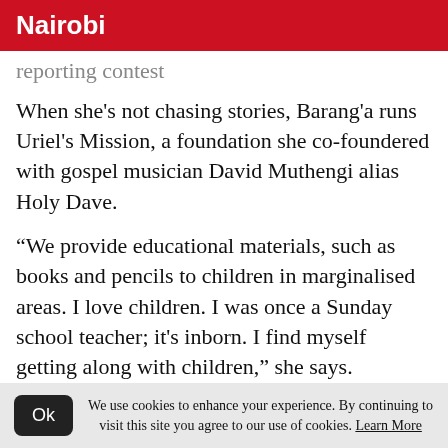Nairobi
reporting contest
When she's not chasing stories, Barang'a runs Uriel's Mission, a foundation she co-foundered with gospel musician David Muthengi alias Holy Dave.
“We provide educational materials, such as books and pencils to children in marginalised areas. I love children. I was once a Sunday school teacher; it’s inborn. I find myself getting along with children,” she says.
She has had the opportunity to travel all over
We use cookies to enhance your experience. By continuing to visit this site you agree to our use of cookies. Learn More